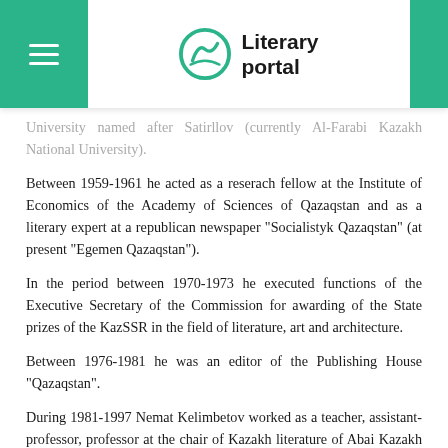Literary portal
University named after Satirllov (currently Al-Farabi Kazakh National University).
Between 1959-1961 he acted as a reserach fellow at the Institute of Economics of the Academy of Sciences of Qazaqstan and as a literary expert at a republican newspaper “Socialistyk Qazaqstan” (at present “Egemen Qazaqstan”).
In the period between 1970-1973 he executed functions of the Executive Secretary of the Commission for awarding of the State prizes of the KazSSR in the field of literature, art and architecture.
Between 1976-1981 he was an editor of the Publishing House “Qazaqstan”.
During 1981-1997 Nemat Kelimbetov worked as a teacher, assistant-professor, professor at the chair of Kazakh literature of Abai Kazakh National Pedagogical University.